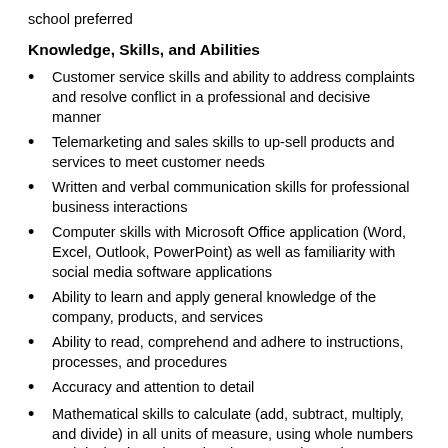school preferred
Knowledge, Skills, and Abilities
Customer service skills and ability to address complaints and resolve conflict in a professional and decisive manner
Telemarketing and sales skills to up-sell products and services to meet customer needs
Written and verbal communication skills for professional business interactions
Computer skills with Microsoft Office application (Word, Excel, Outlook, PowerPoint) as well as familiarity with social media software applications
Ability to learn and apply general knowledge of the company, products, and services
Ability to read, comprehend and adhere to instructions, processes, and procedures
Accuracy and attention to detail
Mathematical skills to calculate (add, subtract, multiply, and divide) in all units of measure, using whole numbers and decimals to determine the rate, ratio, and percent
Organizational and time management skills, including